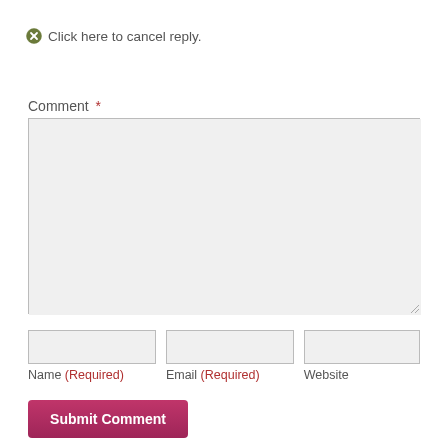Click here to cancel reply.
Comment *
[Figure (screenshot): Empty comment textarea input box with light gray background and border]
Name (Required)
Email (Required)
Website
Submit Comment